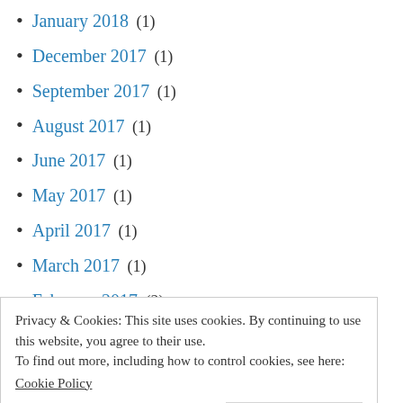January 2018 (1)
December 2017 (1)
September 2017 (1)
August 2017 (1)
June 2017 (1)
May 2017 (1)
April 2017 (1)
March 2017 (1)
February 2017 (2)
January 2017 (4)
Privacy & Cookies: This site uses cookies. By continuing to use this website, you agree to their use.
To find out more, including how to control cookies, see here:
Cookie Policy
Close and accept
May 2013 (1)